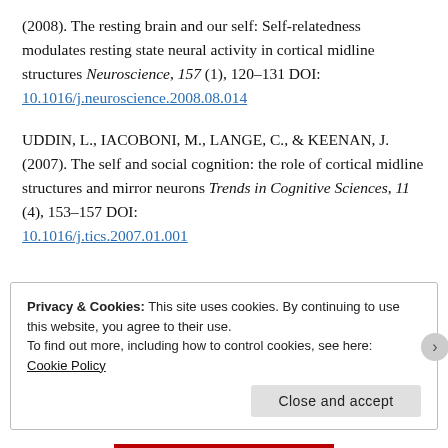(2008). The resting brain and our self: Self-relatedness modulates resting state neural activity in cortical midline structures Neuroscience, 157 (1), 120–131 DOI: 10.1016/j.neuroscience.2008.08.014
UDDIN, L., IACOBONI, M., LANGE, C., & KEENAN, J. (2007). The self and social cognition: the role of cortical midline structures and mirror neurons Trends in Cognitive Sciences, 11 (4), 153–157 DOI: 10.1016/j.tics.2007.01.001
Privacy & Cookies: This site uses cookies. By continuing to use this website, you agree to their use. To find out more, including how to control cookies, see here: Cookie Policy